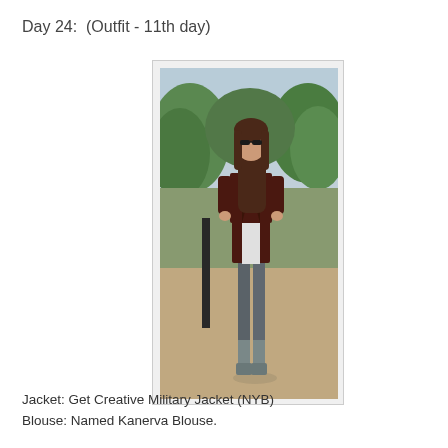Day 24:  (Outfit - 11th day)
[Figure (photo): A woman standing outdoors on a gravel path, wearing a dark burgundy military-style jacket, white blouse, grey skinny jeans/pants, and grey ankle boots. Trees and a park setting are visible in the background.]
Jacket: Get Creative Military Jacket (NYB)
Blouse: Named Kanerva Blouse.